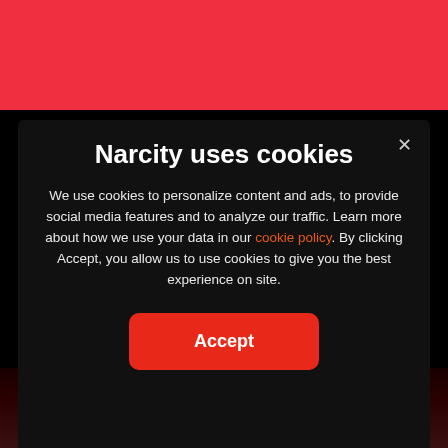[Figure (screenshot): Red header navigation bar of Narcity website]
Narcity uses cookies
We use cookies to personalize content and ads, to provide social media features and to analyze our traffic. Learn more about how we use your data in our cookie policy. By clicking Accept, you allow us to use cookies to give you the best experience on site.
Accept
[Figure (photo): Bottom portion of a webpage showing a dark photo strip]